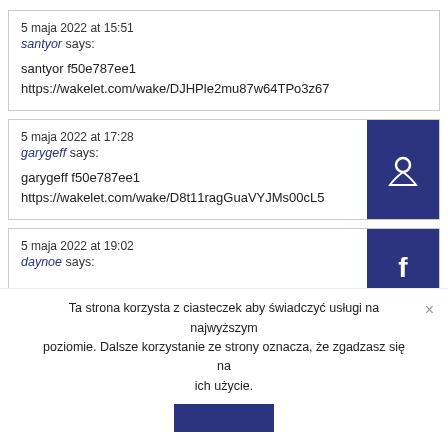5 maja 2022 at 15:51
santyor says:

santyor f50e787ee1
https://wakelet.com/wake/DJHPle2mu87w64TPo3z67
5 maja 2022 at 17:28
garygeff says:

garygeff f50e787ee1
https://wakelet.com/wake/D8t11ragGuaVYJMs00cL5
5 maja 2022 at 19:02
daynoe says:
Ta strona korzysta z ciasteczek aby świadczyć usługi na najwyższym poziomie. Dalsze korzystanie ze strony oznacza, że zgadzasz się na ich użycie.